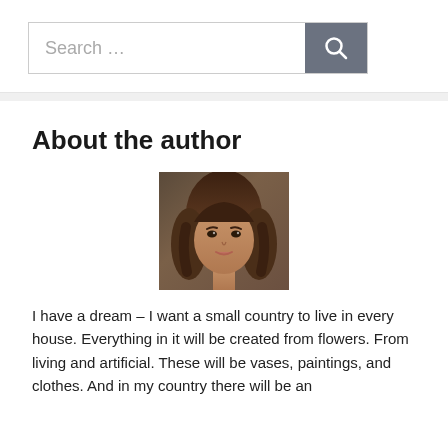[Figure (other): Search bar with text input field showing placeholder 'Search ...' and a dark gray search button with magnifying glass icon]
About the author
[Figure (photo): Portrait photo of a young woman with long brown hair, facing the camera]
I have a dream – I want a small country to live in every house. Everything in it will be created from flowers. From living and artificial. These will be vases, paintings, and clothes. And in my country there will be an